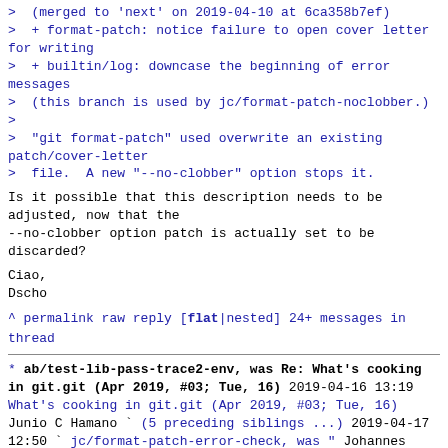>  (merged to 'next' on 2019-04-10 at 6ca358b7ef)
>  + format-patch: notice failure to open cover letter for writing
>  + builtin/log: downcase the beginning of error messages
>  (this branch is used by jc/format-patch-noclobber.)
>
>  "git format-patch" used overwrite an existing patch/cover-letter
>  file.  A new "--no-clobber" option stops it.
Is it possible that this description needs to be adjusted, now that the
--no-clobber option patch is actually set to be discarded?
Ciao,
Dscho
^ permalink raw reply   [flat|nested] 24+ messages in thread
* ab/test-lib-pass-trace2-env, was Re: What's cooking in git.git (Apr 2019, #03; Tue, 16)
  2019-04-16 13:19 What's cooking in git.git (Apr 2019, #03; Tue, 16) Junio C Hamano
              ` (5 preceding siblings ...)
  2019-04-17 12:50 ` jc/format-patch-error-check, was " Johannes Schindelin
@ 2019-04-17 12:50 ` Johannes Schindelin